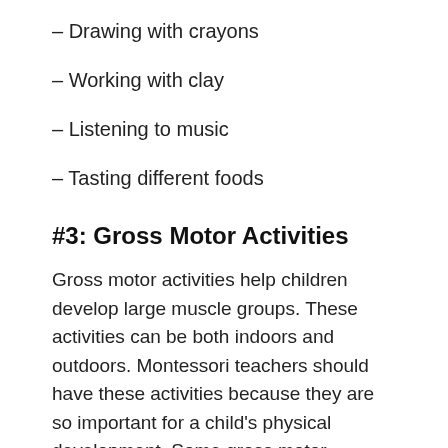– Drawing with crayons
– Working with clay
– Listening to music
– Tasting different foods
#3: Gross Motor Activities
Gross motor activities help children develop large muscle groups. These activities can be both indoors and outdoors. Montessori teachers should have these activities because they are so important for a child's physical development. Some gross motor activities include:
– Running